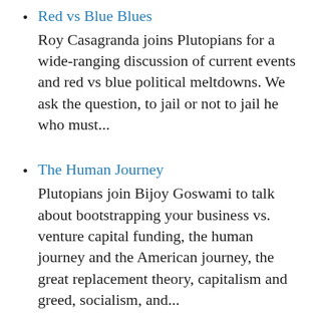Red vs Blue Blues — Roy Casagranda joins Plutopians for a wide-ranging discussion of current events and red vs blue political meltdowns. We ask the question, to jail or not to jail he who must...
The Human Journey — Plutopians join Bijoy Goswami to talk about bootstrapping your business vs. venture capital funding, the human journey and the American journey, the great replacement theory, capitalism and greed, socialism, and...
Dark Brandon Rises! — Plutopians perform a deep dive into the Dark...